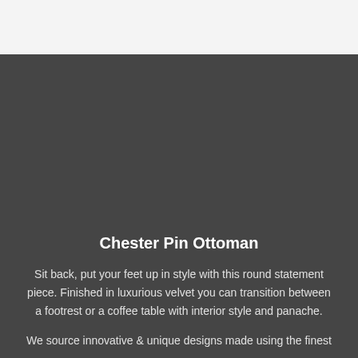[Figure (photo): Large image area at top of page showing a product photo (Chester Pin Ottoman), mostly obscured/dark in this view with a light grey header bar at top]
Chester Pin Ottoman
Sit back, put your feet up in style with this round statement piece. Finished in luxurious velvet you can transition between a footrest or a coffee table with interior style and panache.
We source innovative & unique designs made using the finest